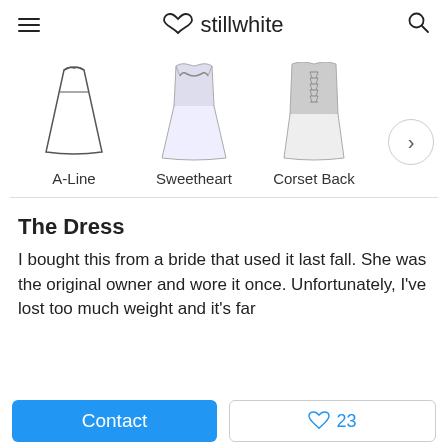stillwhite
[Figure (illustration): Three wedding dress style icons: A-Line (outline dress), Sweetheart (shaded bodice), Corset Back (shaded corset bodice), with a next arrow button]
The Dress
I bought this from a bride that used it last fall. She was the original owner and wore it once. Unfortunately, I've lost too much weight and it's far